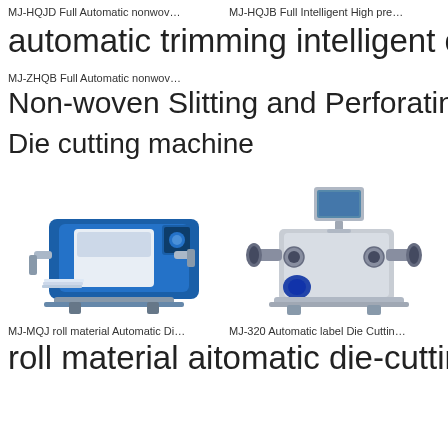MJ-HQJD Full Automatic nonwov…   MJ-HQJB Full Intelligent High pre…
automatic trimming intelligent crosscutti
MJ-ZHQB Full Automatic nonwov…
Non-woven Slitting and Perforating Rew
Die cutting machine
[Figure (photo): Blue and white industrial die cutting machine for roll material]
[Figure (photo): Grey industrial MJ-320 Automatic label die cutting machine]
MJ-MQJ roll material Automatic Di…   MJ-320 Automatic label Die Cuttin…
roll material aitomatic die-cutting macine